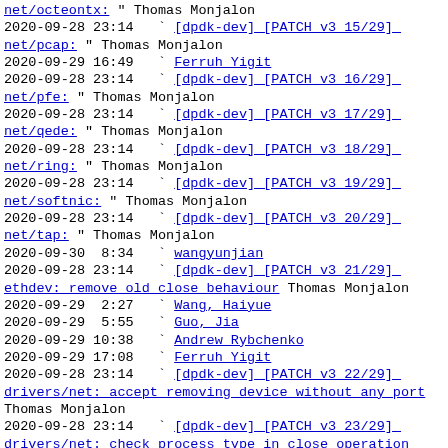net/octeontx:  " Thomas Monjalon
2020-09-28 23:14   ` [dpdk-dev] [PATCH v3 15/29] net/pcap: " Thomas Monjalon
2020-09-29 16:49   ` Ferruh Yigit
2020-09-28 23:14   ` [dpdk-dev] [PATCH v3 16/29] net/pfe: " Thomas Monjalon
2020-09-28 23:14   ` [dpdk-dev] [PATCH v3 17/29] net/qede: " Thomas Monjalon
2020-09-28 23:14   ` [dpdk-dev] [PATCH v3 18/29] net/ring: " Thomas Monjalon
2020-09-28 23:14   ` [dpdk-dev] [PATCH v3 19/29] net/softnic: " Thomas Monjalon
2020-09-28 23:14   ` [dpdk-dev] [PATCH v3 20/29] net/tap: " Thomas Monjalon
2020-09-30  8:34   ` wangyunjian
2020-09-28 23:14   ` [dpdk-dev] [PATCH v3 21/29] ethdev: remove old close behaviour Thomas Monjalon
2020-09-29  2:27   ` Wang, Haiyue
2020-09-29  5:55   ` Guo, Jia
2020-09-29 10:38   ` Andrew Rybchenko
2020-09-29 17:08   ` Ferruh Yigit
2020-09-28 23:14   ` [dpdk-dev] [PATCH v3 22/29] drivers/net: accept removing device without any port Thomas Monjalon
2020-09-28 23:14   ` [dpdk-dev] [PATCH v3 23/29] drivers/net: check process type in close operation Thomas Monjalon
2020-09-29  2:39   ` Wang, Haiyue
2020-09-29  5:53   ` Guo, Jia
2020-09-29 10:42   ` Andrew Rybchenko